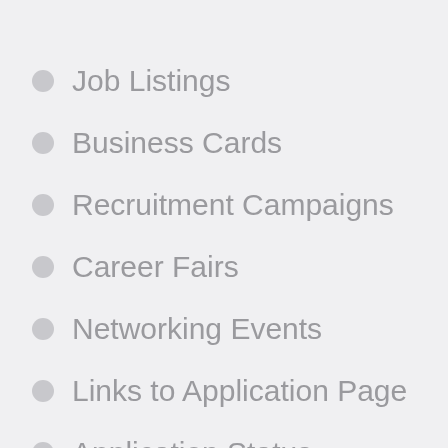Job Listings
Business Cards
Recruitment Campaigns
Career Fairs
Networking Events
Links to Application Page
Application Status
Text to Apply